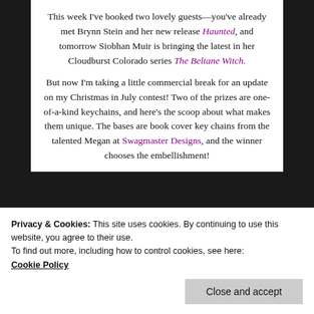This week I've booked two lovely guests—you've already met Brynn Stein and her new release Haunted, and tomorrow Siobhan Muir is bringing the latest in her Cloudburst Colorado series The Beltane Witch.
But now I'm taking a little commercial break for an update on my Christmas in July contest! Two of the prizes are one-of-a-kind keychains, and here's the scoop about what makes them unique. The bases are book cover key chains from the talented Megan at Swagmaster Designs, and the winner chooses the embellishment!
Privacy & Cookies: This site uses cookies. By continuing to use this website, you agree to their use.
To find out more, including how to control cookies, see here:
Cookie Policy